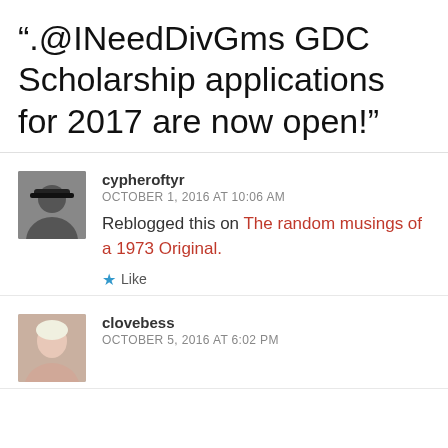".@INeedDivGms GDC Scholarship applications for 2017 are now open!"
cypheroftyr
OCTOBER 1, 2016 AT 10:06 AM
Reblogged this on The random musings of a 1973 Original.
★ Like
clovebess
OCTOBER 5, 2016 AT 6:02 PM